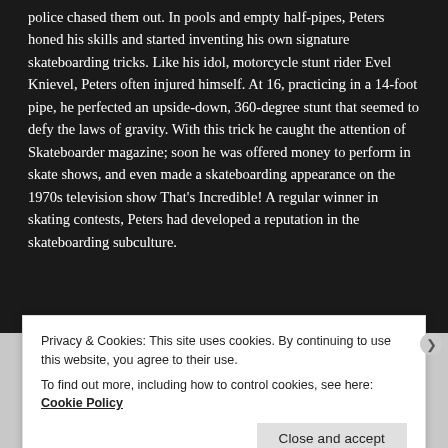police chased them out. In pools and empty half-pipes, Peters honed his skills and started inventing his own signature skateboarding tricks. Like his idol, motorcycle stunt rider Evel Knievel, Peters often injured himself. At 16, practicing in a 14-foot pipe, he perfected an upside-down, 360-degree stunt that seemed to defy the laws of gravity. With this trick he caught the attention of Skateboarder magazine; soon he was offered money to perform in skate shows, and even made a skateboarding appearance on the 1970s television show That's Incredible! A regular winner in skating contests, Peters had developed a reputation in the skateboarding subculture.
Young Duane Peters Age 19 Before Adopting The
Privacy & Cookies: This site uses cookies. By continuing to use this website, you agree to their use.
To find out more, including how to control cookies, see here: Cookie Policy